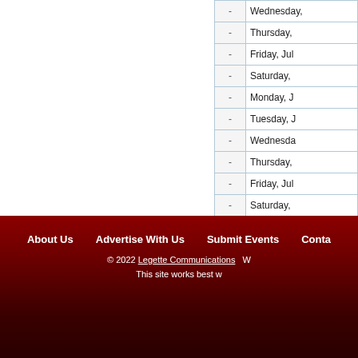| - | Day |
| --- | --- |
| - | Wednesday, |
| - | Thursday, |
| - | Friday, Jul |
| - | Saturday, |
| - | Monday, J |
| - | Tuesday, J |
| - | Wednesday |
| - | Thursday, |
| - | Friday, Jul |
| - | Saturday, |
| - | Monday, J |
| - | Tuesday, J |
| - | Wednesday |
| - | Thursday, |
| - | Friday, Jul |
About Us    Advertise With Us    Submit Events    Contact
© 2022 Legette Communications   W
This site works best w